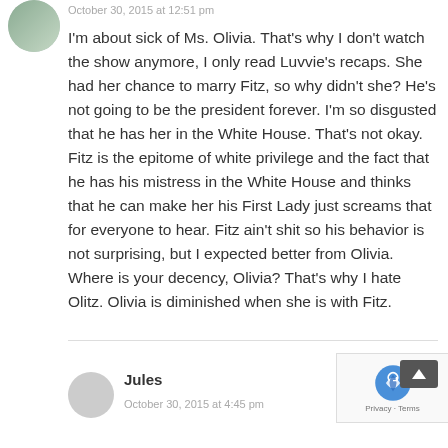October 30, 2015 at 12:51 pm
I'm about sick of Ms. Olivia. That's why I don't watch the show anymore, I only read Luvvie's recaps. She had her chance to marry Fitz, so why didn't she? He's not going to be the president forever. I'm so disgusted that he has her in the White House. That's not okay. Fitz is the epitome of white privilege and the fact that he has his mistress in the White House and thinks that he can make her his First Lady just screams that for everyone to hear. Fitz ain't shit so his behavior is not surprising, but I expected better from Olivia. Where is your decency, Olivia? That's why I hate Olitz. Olivia is diminished when she is with Fitz.
Jules
October 30, 2015 at 4:45 pm